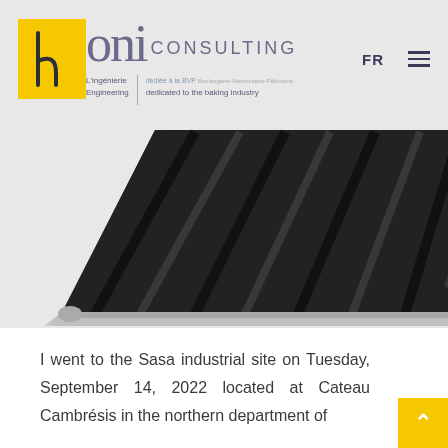[Figure (logo): Hopi Consulting logo with yellow box containing stylized 'h', followed by 'oni' in grey, 'CONSULTING' text, and tagline in French and English about engineering for the baking industry]
[Figure (photo): Close-up photo of a dark ribbed baking tray/mold with a metallic edge, photographed from an angle]
I went to the Sasa industrial site on Tuesday, September 14, 2022 located at Cateau Cambrésis in the northern department of